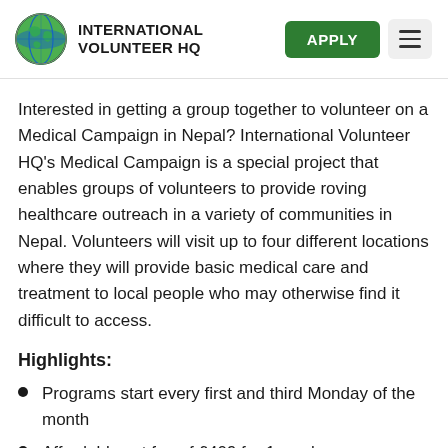[Figure (logo): Globe logo with green and blue coloring representing International Volunteer HQ]
INTERNATIONAL VOLUNTEER HQ
Interested in getting a group together to volunteer on a Medical Campaign in Nepal? International Volunteer HQ's Medical Campaign is a special project that enables groups of volunteers to provide roving healthcare outreach in a variety of communities in Nepal. Volunteers will visit up to four different locations where they will provide basic medical care and treatment to local people who may otherwise find it difficult to access.
Highlights:
Programs start every first and third Monday of the month
Affordable set fee of £409 for 1 week
Includes accommodation, breakfast and dinner, airport pick up, orientation and 24/7 support